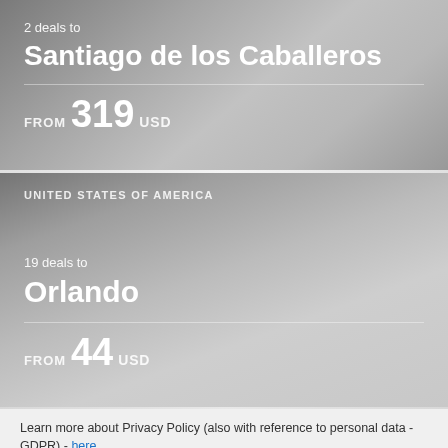2 deals to
Santiago de los Caballeros
FROM 319 USD
UNITED STATES OF AMERICA
19 deals to
Orlando
FROM 44 USD
Learn more about Privacy Policy (also with reference to personal data - GDPR) - here.
Accept